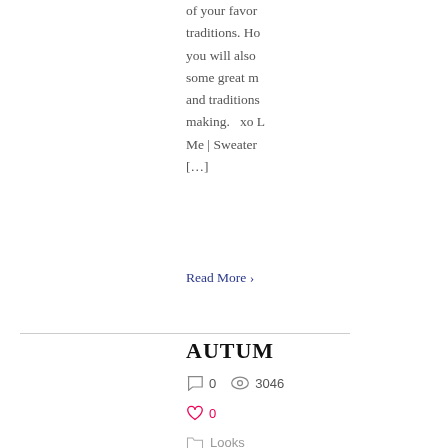of your favor traditions. Ho you will also some great m and traditions making.  xo Me | Sweater […]
Read More ›
AUTUM
0   3046
0
Looks